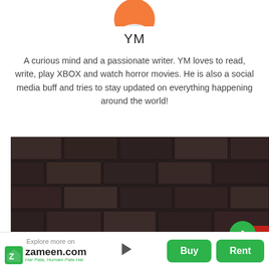[Figure (illustration): Partial avatar icon with orange top and white bottom, cropped at top of page]
YM
A curious mind and a passionate writer. YM loves to read, write, play XBOX and watch horror movies. He is also a social media buff and tries to stay updated on everything happening around the world!
[Figure (photo): Dark stone/brick wall with a red chair partially visible at the bottom right]
Explore more on zameen.com Har Pata, Humain Pata Hai | Buy | Rent